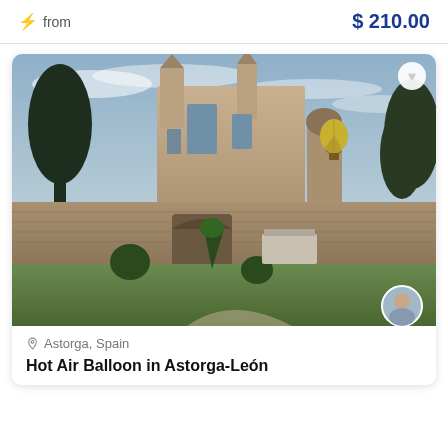⚡ from   $ 210.00
[Figure (photo): Hot air balloon floating over Astorga, Spain, with a cathedral, stone walls, green trees, and manicured gardens in the foreground.]
📍 Astorga, Spain
Hot Air Balloon in Astorga-León